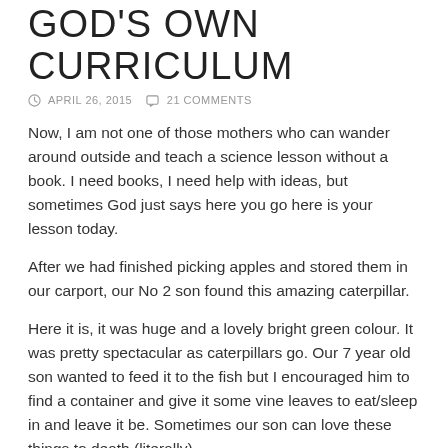GOD'S OWN CURRICULUM
APRIL 26, 2015   21 COMMENTS
Now, I am not one of those mothers who can wander around outside and teach a science lesson without a book. I need books, I need help with ideas, but sometimes God just says here you go here is your lesson today.
After we had finished picking apples and stored them in our carport, our No 2 son found this amazing caterpillar.
Here it is, it was huge and a lovely bright green colour. It was pretty spectacular as caterpillars go. Our 7 year old son wanted to feed it to the fish but I encouraged him to find a container and give it some vine leaves to eat/sleep in and leave it be. Sometimes our son can love these things to death (literally).
[Figure (photo): A grey/silver photo partially visible at the bottom of the page, likely showing the caterpillar mentioned in the text.]